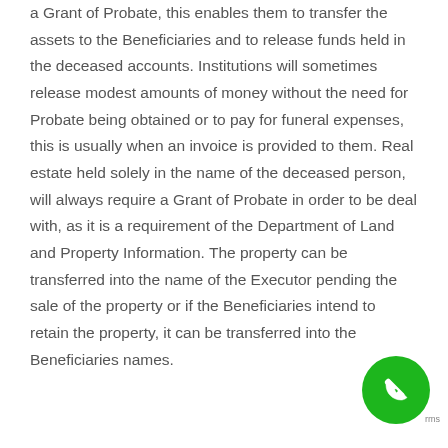a Grant of Probate, this enables them to transfer the assets to the Beneficiaries and to release funds held in the deceased accounts. Institutions will sometimes release modest amounts of money without the need for Probate being obtained or to pay for funeral expenses, this is usually when an invoice is provided to them. Real estate held solely in the name of the deceased person, will always require a Grant of Probate in order to be deal with, as it is a requirement of the Department of Land and Property Information. The property can be transferred into the name of the Executor pending the sale of the property or if the Beneficiaries intend to retain the property, it can be transferred into the Beneficiaries names.